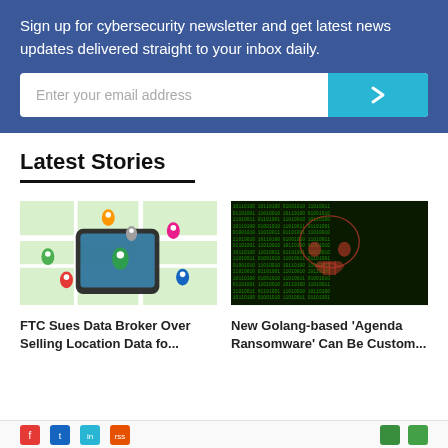Sign up for cybersecurity newsletter and get latest news updates delivered straight to your inbox daily.
[Figure (screenshot): Email subscription input box with placeholder 'Enter your email address' and a cyan arrow button]
Latest Stories
[Figure (illustration): Smartphone on a map with colorful location pin markers]
FTC Sues Data Broker Over Selling Location Data fo...
[Figure (photo): Dark background with green matrix-style text forming a skull shape — representing malware/ransomware]
New Golang-based 'Agenda Ransomware' Can Be Custom...
[Figure (other): Row of social media icons at the bottom]